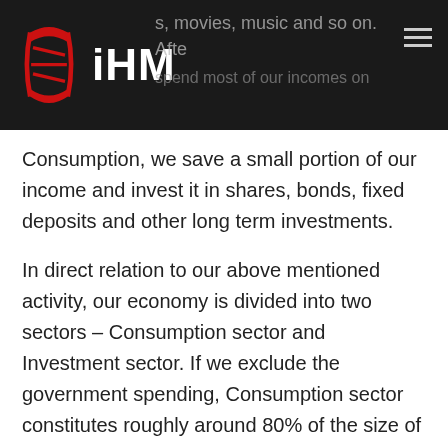iHM — books, movies, music and so on. After all, we spend most of our incomes on
Consumption, we save a small portion of our income and invest it in shares, bonds, fixed deposits and other long term investments.
In direct relation to our above mentioned activity, our economy is divided into two sectors – Consumption sector and Investment sector. If we exclude the government spending, Consumption sector constitutes roughly around 80% of the size of economy. It includes everything that we buy – food, clothing, cars, bikes, TVs and other durable goods, books – every thing. And around 20 percent of the size